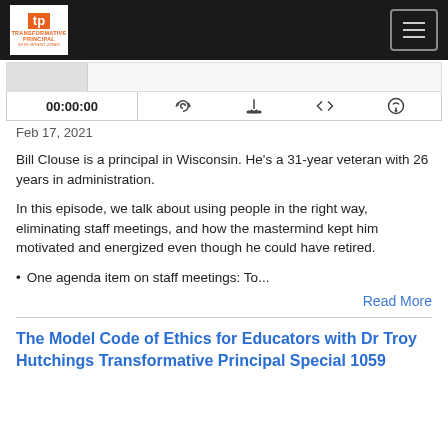[Figure (screenshot): Website navigation bar with Transformative Principal logo on left and hamburger menu button on right, dark background]
[Figure (screenshot): Audio player widget showing 00:00:00 time display with podcast player controls including RSS, download, embed and share icons]
Feb 17, 2021
Bill Clouse is a principal in Wisconsin. He's a 31-year veteran with 26 years in administration.
In this episode, we talk about using people in the right way, eliminating staff meetings, and how the mastermind kept him motivated and energized even though he could have retired.
One agenda item on staff meetings: To...
Read More
The Model Code of Ethics for Educators with Dr Troy Hutchings Transformative Principal Special 1059